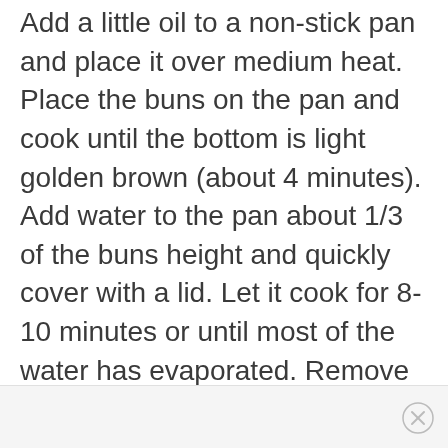Add a little oil to a non-stick pan and place it over medium heat. Place the buns on the pan and cook until the bottom is light golden brown (about 4 minutes). Add water to the pan about 1/3 of the buns height and quickly cover with a lid. Let it cook for 8-10 minutes or until most of the water has evaporated. Remove the lid and add scallions if desired. Cook for another 2 minutes until all the water has evaporated and bottom is crispy.